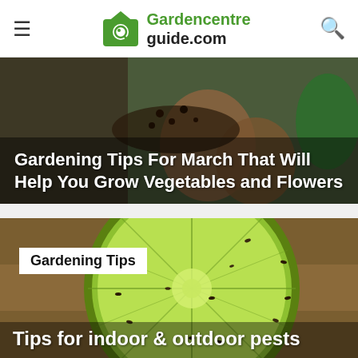Gardencentreguide.com
[Figure (photo): Gardening background photo with soil, pots and seeds. Overlay title: Gardening Tips For March That Will Help You Grow Vegetables and Flowers]
Gardening Tips For March That Will Help You Grow Vegetables and Flowers
[Figure (photo): Close-up cross-section of a lime/citrus fruit with insects (fruit flies) visible on the flesh. Badge label: Gardening Tips. Bottom title: Tips for indoor & outdoor pests]